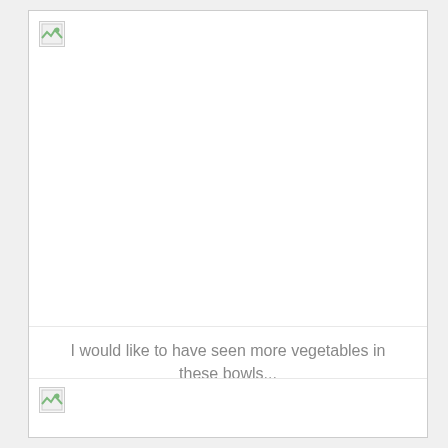[Figure (photo): Broken/missing image placeholder at top of page showing a small broken image icon]
I would like to have seen more vegetables in these bowls...
[Figure (photo): Broken/missing image placeholder at bottom of page showing a small broken image icon]